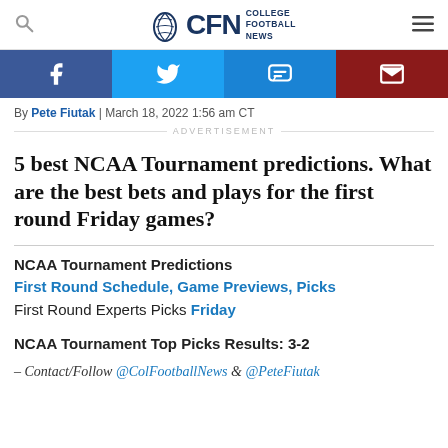CFN College Football News
[Figure (infographic): Social sharing buttons: Facebook (blue), Twitter (light blue), SMS (blue), Email (dark red)]
By Pete Fiutak | March 18, 2022 1:56 am CT
ADVERTISEMENT
5 best NCAA Tournament predictions. What are the best bets and plays for the first round Friday games?
NCAA Tournament Predictions
First Round Schedule, Game Previews, Picks
First Round Experts Picks Friday
NCAA Tournament Top Picks Results: 3-2
– Contact/Follow @ColFootballNews & @PeteFiutak